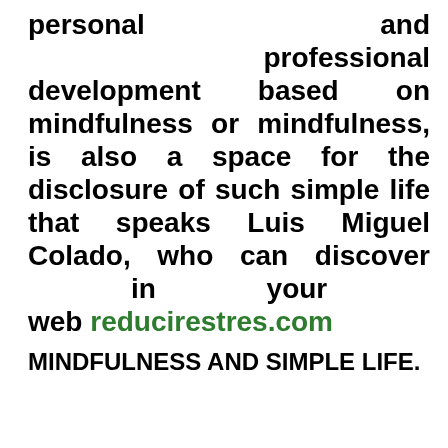personal and professional development based on mindfulness or mindfulness, is also a space for the disclosure of such simple life that speaks Luis Miguel Colado, who can discover in your web reducirestres.com
MINDFULNESS AND SIMPLE LIFE.